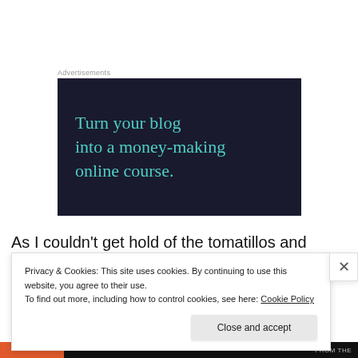Advertisements
[Figure (illustration): Dark navy background advertisement banner with teal serif text reading 'Turn your blog into a money-making online course.']
As I couldn't get hold of the tomatillos and anaheim chillies required for their suggested recipe (Green Chile and Grilled Chicken), I made a red chilli sauced version
Privacy & Cookies: This site uses cookies. By continuing to use this website, you agree to their use.
To find out more, including how to control cookies, see here: Cookie Policy
Close and accept